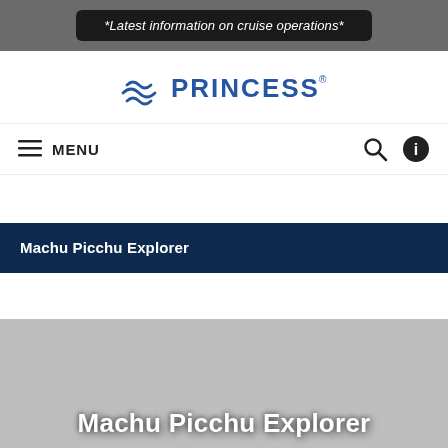*Latest information on cruise operations*
[Figure (logo): Princess Cruises logo with wave icon and PRINCESS wordmark in blue]
MENU (navigation bar with search and info icons)
Machu Picchu Explorer
[Figure (photo): Gray placeholder hero image with 'Machu Picchu Explorer' text overlay in white bold letters]